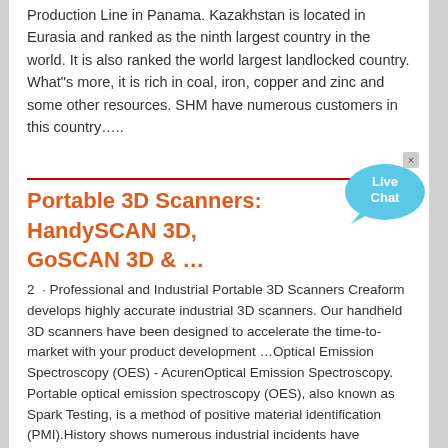Production Line in Panama. Kazakhstan is located in Eurasia and ranked as the ninth largest country in the world. It is also ranked the world largest landlocked country. What"s more, it is rich in coal, iron, copper and zinc and some other resources. SHM have numerous customers in this country…..
[Figure (other): Live Chat button/widget — a blue speech bubble with 'Live Chat' text and a small x close button]
Portable 3D Scanners: HandySCAN 3D, GoSCAN 3D & …
2 · Professional and Industrial Portable 3D Scanners Creaform develops highly accurate industrial 3D scanners. Our handheld 3D scanners have been designed to accelerate the time-to-market with your product development …Optical Emission Spectroscopy (OES) - AcurenOptical Emission Spectroscopy. Portable optical emission spectroscopy (OES), also known as Spark Testing, is a method of positive material identification (PMI).History shows numerous industrial incidents have occurred as a result of the inadvertent substitution of materials in piping systems, fittings, flanges, gaskets, bolting materials and other components.